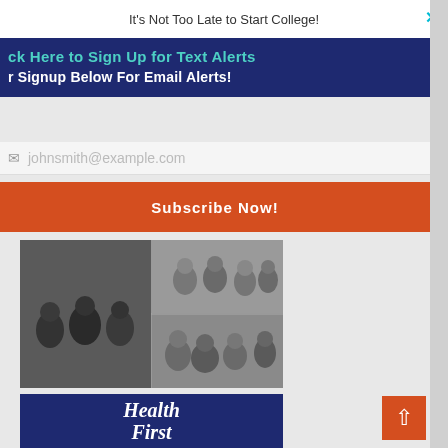It's Not Too Late to Start College!
ck Here to Sign Up for Text Alerts
r Signup Below For Email Alerts!
johnsmith@example.com
Subscribe Now!
[Figure (photo): Black and white collage of multiple photos showing groups of people in what appears to be a bar or social gathering setting, related to Jimmy Palermo sports bar history]
Fox News Highlights Longtime Brevard Resident Jimmy Palermo as Originator of the Sports Bar
[Figure (logo): Health First logo on dark blue background with italic serif font]